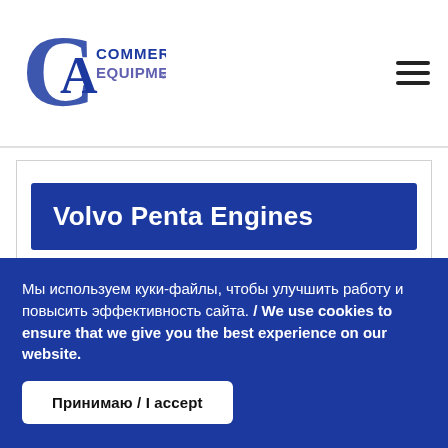[Figure (logo): CA Commercial Equipment logo — blue C with A inside and text 'Commercial Equipment']
Volvo Penta Engines
Industrial
Мы используем куки-файлы, чтобы улучшить работу и повысить эффективность сайта. / We use cookies to ensure that we give you the best experience on our website.
Принимаю / I accept